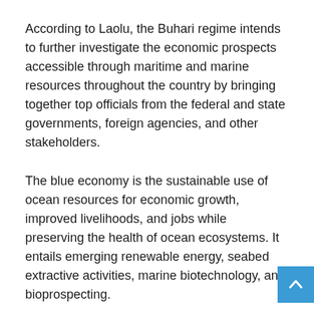According to Laolu, the Buhari regime intends to further investigate the economic prospects accessible through maritime and marine resources throughout the country by bringing together top officials from the federal and state governments, foreign agencies, and other stakeholders.
The blue economy is the sustainable use of ocean resources for economic growth, improved livelihoods, and jobs while preserving the health of ocean ecosystems. It entails emerging renewable energy, seabed extractive activities, marine biotechnology, and bioprospecting.
Speaking at the event, the VP was quoted as saying, "The blue economy offers a whole new vista of opportunity for economic activity especially in areas close to oceans, rivers,